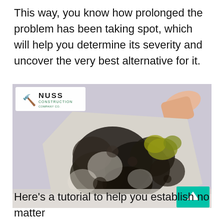This way, you know how prolonged the problem has been taking spot, which will help you determine its severity and uncover the very best alternative for it.
[Figure (photo): Photo of a person holding up a large piece of drywall or wallboard showing heavy black and dark mold growth on its surface, with a Nuss Construction Company logo watermark in the top left corner. A teal/green scroll-to-top arrow button is visible in the bottom right corner.]
Here's a tutorial to help you establish no matter